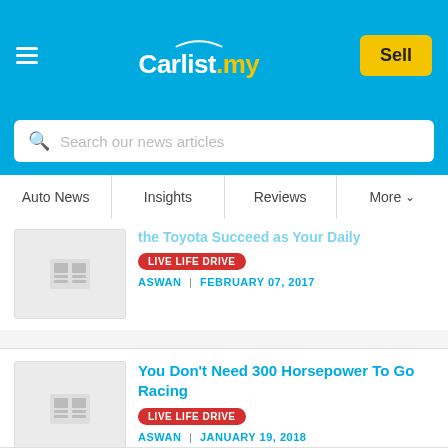[Figure (logo): Carlist.my logo with car silhouette on blue header bar with hamburger menu and yellow Sell button]
Search our news articles
Auto News | Insights | Reviews | More
LIVE LIFE DRIVE
ASWAN | FEBRUARY 07, 2017
You Don't Need 300 Horsepower To Go Racing
LIVE LIFE DRIVE
ASWAN | JANUARY 19, 2018